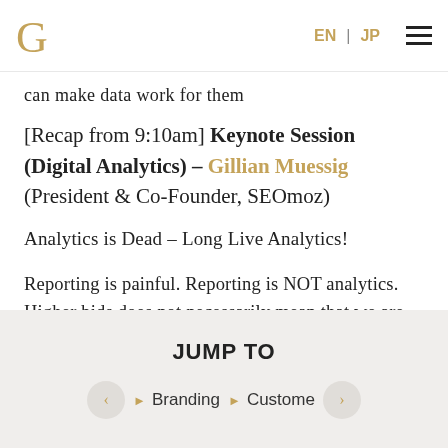G | EN | JP ☰
can make data work for them
[Recap from 9:10am] Keynote Session (Digital Analytics) – Gillian Muessig (President & Co-Founder, SEOmoz)
Analytics is Dead – Long Live Analytics!
Reporting is painful. Reporting is NOT analytics. Higher bids does not necessarily mean that we are going to pay more for conversion. Analytics = Linear Programming. Metrics Decomposition: It's always about margin versus volume. Where to focus?: focus
JUMP TO
▶ Branding
▶ Custome